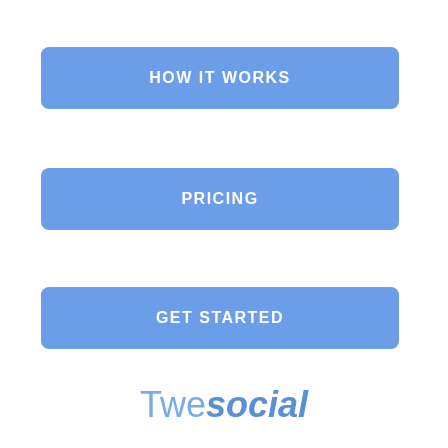HOW IT WORKS
PRICING
GET STARTED
[Figure (logo): Twesocial logo with 'Twe' in light blue regular weight and 'social' in bold italic blue]